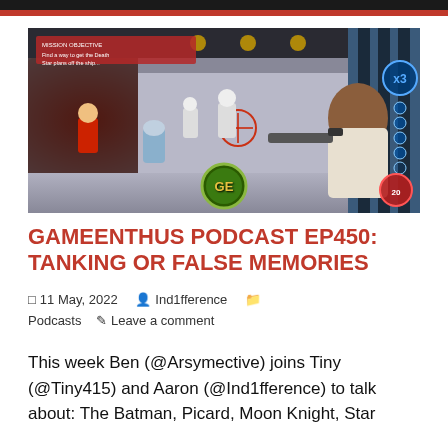[Figure (screenshot): Screenshot from LEGO Star Wars video game showing a character aiming a blaster in a futuristic corridor, with stormtroopers and LEGO figures visible. A GE (GameEnthus) logo watermark appears at the bottom center.]
GAMEENTHUS PODCAST EP450: TANKING OR FALSE MEMORIES
📄 11 May, 2022   👤 Ind1fference   📁 Podcasts   ✏️ Leave a comment
This week Ben (@Arsymective) joins Tiny (@Tiny415) and Aaron (@Ind1fference) to talk about: The Batman, Picard, Moon Knight, Star